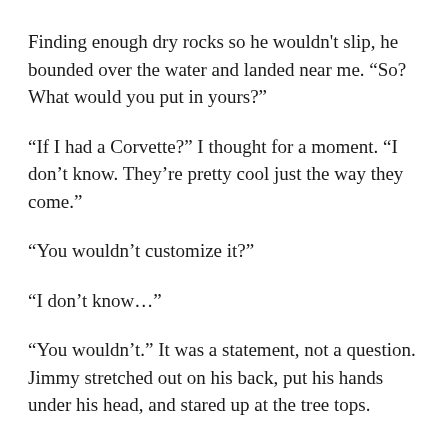Finding enough dry rocks so he wouldn't slip, he bounded over the water and landed near me. “So? What would you put in yours?”
“If I had a Corvette?” I thought for a moment. “I don’t know. They’re pretty cool just the way they come.”
“You wouldn’t customize it?”
“I don’t know…”
“You wouldn’t.” It was a statement, not a question. Jimmy stretched out on his back, put his hands under his head, and stared up at the tree tops.
I never did that. Bugs might get in my hair.
“Why not?”